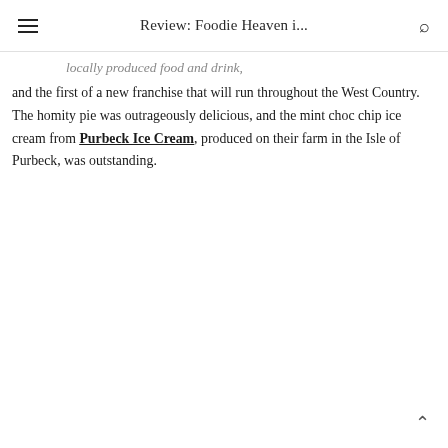Review: Foodie Heaven i...
locally produced food and drink, and the first of a new franchise that will run throughout the West Country. The homity pie was outrageously delicious, and the mint choc chip ice cream from Purbeck Ice Cream, produced on their farm in the Isle of Purbeck, was outstanding.